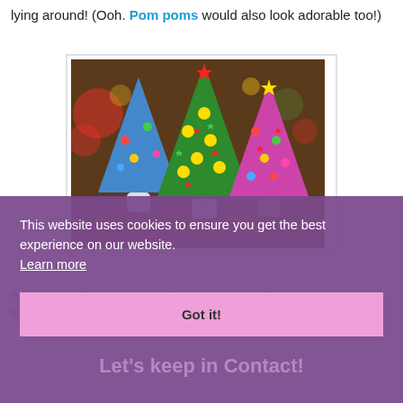lying around!  (Ooh. Pom poms would also look adorable too!)
[Figure (photo): Three colorful Christmas trees made from paper cones decorated with stickers and paint, sitting on toilet paper roll bases on a wooden surface with bokeh lights in background.]
And that's it! Hope you enjoy this easy and fun Christmas kid...
Let's keep in Contact!
This website uses cookies to ensure you get the best experience on our website. Learn more
Got it!